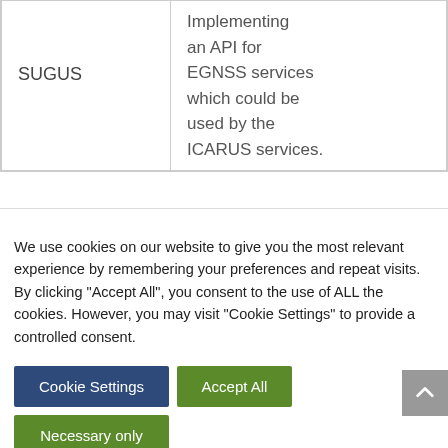| SUGUS | Implementing an API for EGNSS services which could be used by the ICARUS services. |
We use cookies on our website to give you the most relevant experience by remembering your preferences and repeat visits. By clicking "Accept All", you consent to the use of ALL the cookies. However, you may visit "Cookie Settings" to provide a controlled consent.